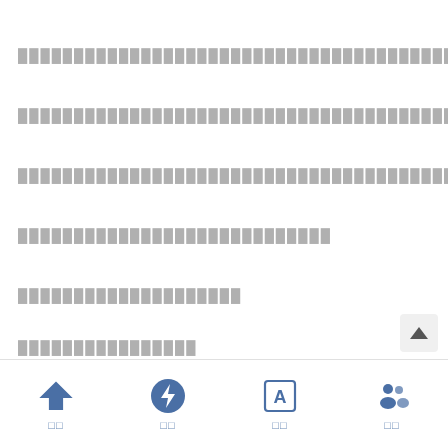████████████████████████████████████████████████
████████████████████████████████████████
███████████████████████████████████████
████████████████████████████
████████████████████
████████████████
████████████████████████████████████████████████████████████
□ □ □ □